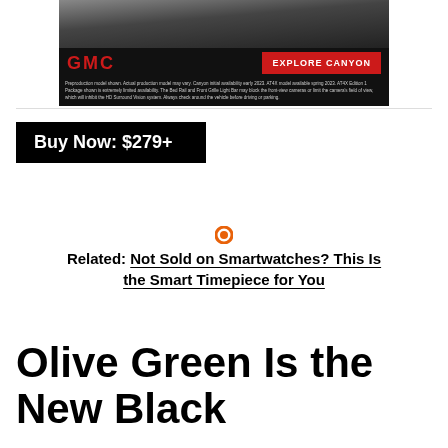[Figure (other): GMC Canyon advertisement banner with black background, GMC logo in red, EXPLORE CANYON red button, vehicle image at top, and small disclaimer text]
[Figure (other): Black button with white text: Buy Now: $279+]
[Figure (other): Orange filled circle dot separator]
Related: Not Sold on Smartwatches? This Is the Smart Timepiece for You
Olive Green Is the New Black